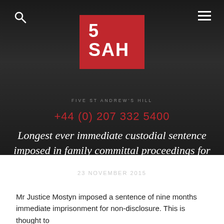[Figure (logo): 5 SAH (Five St Andrew's Hill) law chambers logo — red square with white bold text '5' and 'SAH', with tagline 'FIVE ST ANDREW'S HILL' below, phone number +44 (0) 207 332 5400 in red, on dark background with navigation icons]
Longest ever immediate custodial sentence imposed in family committal proceedings for non-disclosure.
23 NOVEMBER 2015
Mr Justice Mostyn imposed a sentence of nine months immediate imprisonment for non-disclosure. This is thought to